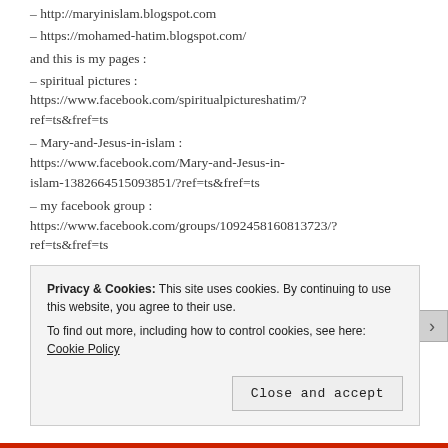– http://maryinislam.blogspot.com
– https://mohamed-hatim.blogspot.com/
and this is my pages :
– spiritual pictures : https://www.facebook.com/spiritualpictureshatim/?ref=ts&fref=ts
– Mary-and-Jesus-in-islam : https://www.facebook.com/Mary-and-Jesus-in-islam-1382664515093851/?ref=ts&fref=ts
– my facebook group : https://www.facebook.com/groups/1092458160813723/?ref=ts&fref=ts
Privacy & Cookies: This site uses cookies. By continuing to use this website, you agree to their use. To find out more, including how to control cookies, see here: Cookie Policy
Close and accept